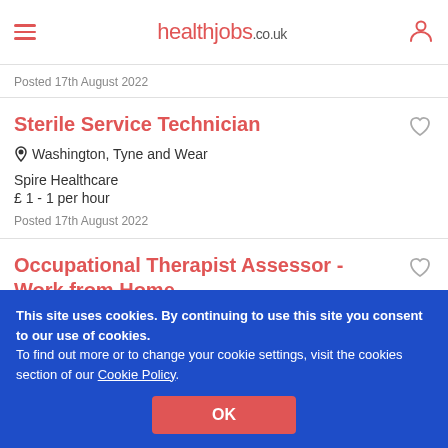healthjobs.co.uk
Posted 17th August 2022
Sterile Service Technician
Washington, Tyne and Wear
Spire Healthcare
£ 1 - 1 per hour
Posted 17th August 2022
Occupational Therapist Assessor - Work from Home
This site uses cookies. By continuing to use this site you consent to our use of cookies.
To find out more or to change your cookie settings, visit the cookies section of our Cookie Policy.